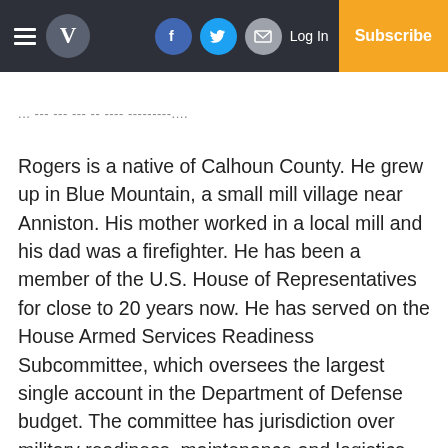V [logo] | Facebook | Twitter | Email | Log In | Subscribe
... we can get out of this situation....
Rogers is a native of Calhoun County. He grew up in Blue Mountain, a small mill village near Anniston. His mother worked in a local mill and his dad was a firefighter. He has been a member of the U.S. House of Representatives for close to 20 years now. He has served on the House Armed Services Readiness Subcommittee, which oversees the largest single account in the Department of Defense budget. The committee has jurisdiction over military readiness, maintenance and logistics. The east Alabama area he represents is home to a portion of Fort Benning and